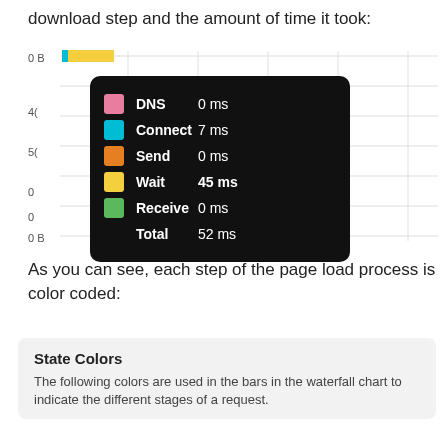download step and the amount of time it took:
[Figure (screenshot): Waterfall chart screenshot showing a tooltip with DNS, Connect, Send, Wait, Receive timing breakdown. Tooltip shows: DNS 0 ms, Connect 7 ms, Send 0 ms, Wait 45 ms, Receive 0 ms, Total 52 ms. Background chart has horizontal bars with cyan and yellow segments visible.]
As you can see, each step of the page load process is color coded:
State Colors
The following colors are used in the bars in the waterfall chart to indicate the different stages of a request.